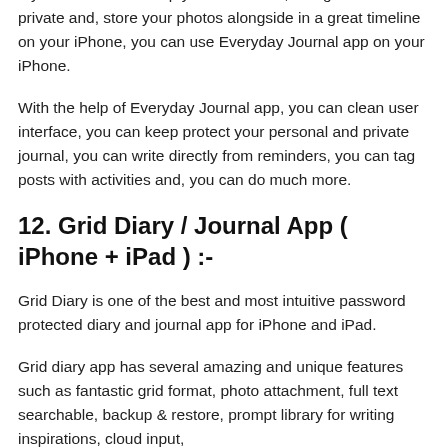If you can want to keep your memories, thoughts and ideas private and, store your photos alongside in a great timeline on your iPhone, you can use Everyday Journal app on your iPhone.
With the help of Everyday Journal app, you can clean user interface, you can keep protect your personal and private journal, you can write directly from reminders, you can tag posts with activities and, you can do much more.
12. Grid Diary / Journal App ( iPhone + iPad ) :-
Grid Diary is one of the best and most intuitive password protected diary and journal app for iPhone and iPad.
Grid diary app has several amazing and unique features such as fantastic grid format, photo attachment, full text searchable, backup & restore, prompt library for writing inspirations, cloud input,